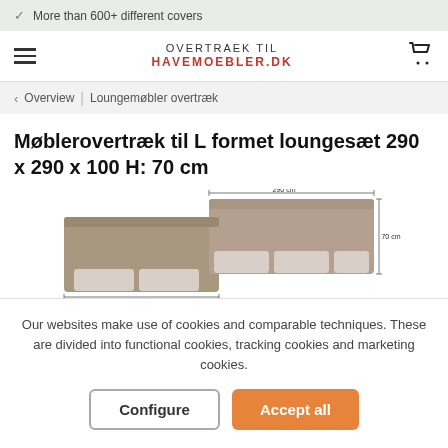More than 600+ different covers
[Figure (logo): OVERTRAEK TIL HAVEMOEBLER.DK logo with hamburger menu and cart icon]
Overview | Loungemøbler overtræk
Møblerovertræk til L formet loungesæt 290 x 290 x 100 H: 70 cm
[Figure (photo): L-shaped lounge set cover in taupe/grey color with dimension markings shown on product]
Our websites make use of cookies and comparable techniques. These are divided into functional cookies, tracking cookies and marketing cookies.
Configure
Accept all